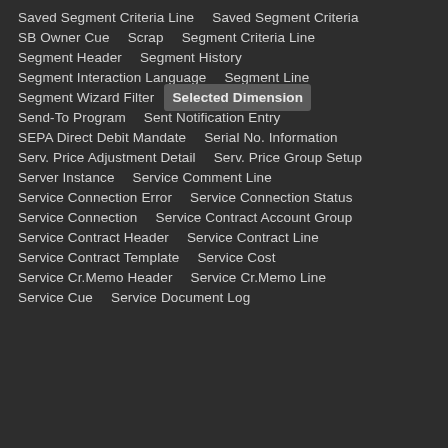Saved Segment Criteria Line
Saved Segment Criteria
SB Owner Cue
Scrap
Segment Criteria Line
Segment Header
Segment History
Segment Interaction Language
Segment Line
Segment Wizard Filter
Selected Dimension
Send-To Program
Sent Notification Entry
SEPA Direct Debit Mandate
Serial No. Information
Serv. Price Adjustment Detail
Serv. Price Group Setup
Server Instance
Service Comment Line
Service Connection Error
Service Connection Status
Service Connection
Service Contract Account Group
Service Contract Header
Service Contract Line
Service Contract Template
Service Cost
Service Cr.Memo Header
Service Cr.Memo Line
Service Cue
Service Document Log